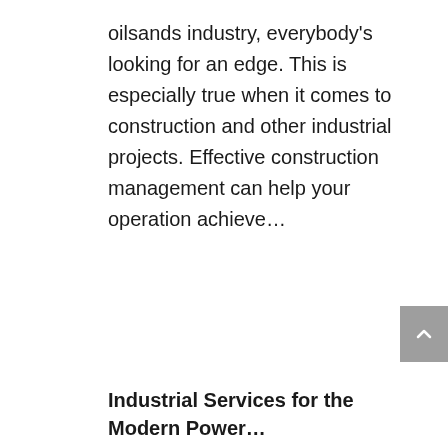oilsands industry, everybody's looking for an edge. This is especially true when it comes to construction and other industrial projects. Effective construction management can help your operation achieve...
Industrial Services for the Modern Power...